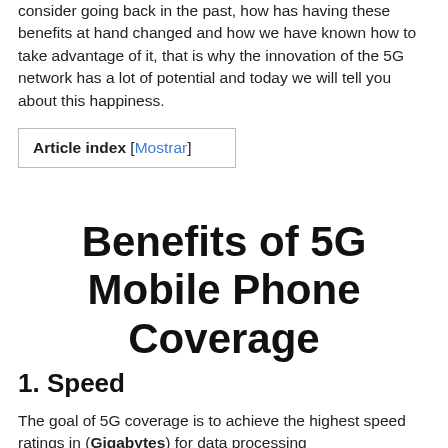consider going back in the past, how has having these benefits at hand changed and how we have known how to take advantage of it, that is why the innovation of the 5G network has a lot of potential and today we will tell you about this happiness.
Article index [Mostrar]
Benefits of 5G Mobile Phone Coverage
1. Speed
The goal of 5G coverage is to achieve the highest speed ratings in (Gigabytes) for data processing